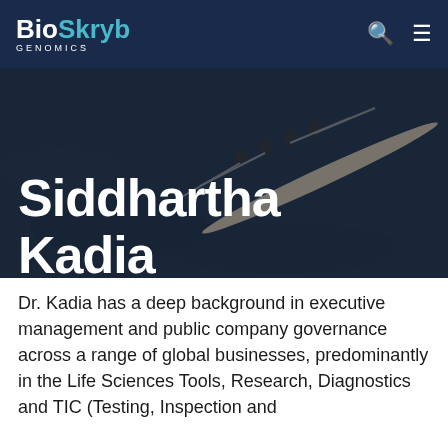BioSkryb GENOMICS
Siddhartha Kadia
Dr. Kadia has a deep background in executive management and public company governance across a range of global businesses, predominantly in the Life Sciences Tools, Research, Diagnostics and TIC (Testing, Inspection and